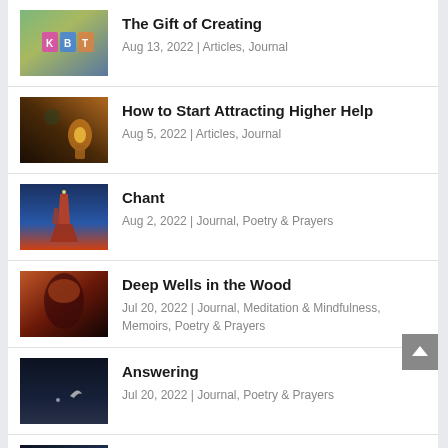The Gift of Creating
Aug 13, 2022 | Articles, Journal
How to Start Attracting Higher Help
Aug 5, 2022 | Articles, Journal
Chant
Aug 2, 2022 | Journal, Poetry & Prayers
Deep Wells in the Wood
Jul 20, 2022 | Journal, Meditation & Mindfulness, Memoirs, Poetry & Prayers
Answering
Jul 20, 2022 | Journal, Poetry & Prayers
The Breeze Teasing
Jul 15, 2022 | Buddhism, Journal, Poetry & Prayers